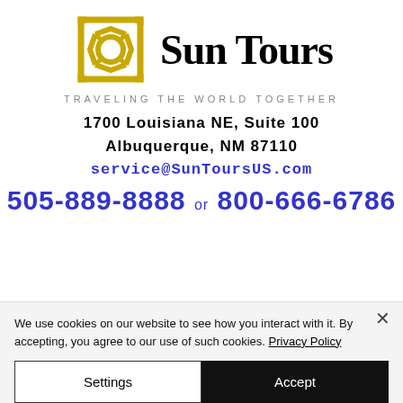[Figure (logo): Sun Tours company logo: golden/yellow geometric swirl/sun symbol on left, bold serif text 'Sun Tours' on right, tagline 'TRAVELING THE WORLD TOGETHER' below]
1700 Louisiana NE, Suite 100
Albuquerque, NM 87110
service@SunToursUS.com
505-889-8888 or 800-666-6786
We use cookies on our website to see how you interact with it. By accepting, you agree to our use of such cookies. Privacy Policy